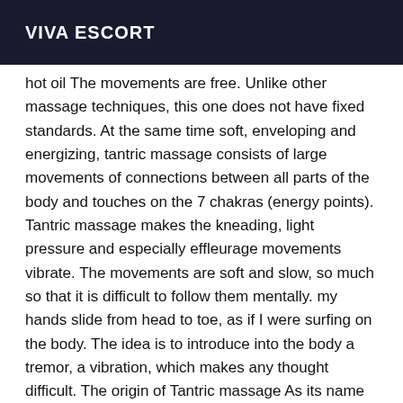VIVA ESCORT
hot oil The movements are free. Unlike other massage techniques, this one does not have fixed standards. At the same time soft, enveloping and energizing, tantric massage consists of large movements of connections between all parts of the body and touches on the 7 chakras (energy points). Tantric massage makes the kneading, light pressure and especially effleurage movements vibrate. The movements are soft and slow, so much so that it is difficult to follow them mentally. my hands slide from head to toe, as if I were surfing on the body. The idea is to introduce into the body a tremor, a vibration, which makes any thought difficult. The origin of Tantric massage As its name suggests, Tantric massage is one of the rituals taught in the tantras, esoteric sacred books that led to one of the forms of Hindu*e. It undergoes the influence of the thousand-year-old traditions both Indian and Chinese. I offer you a parking